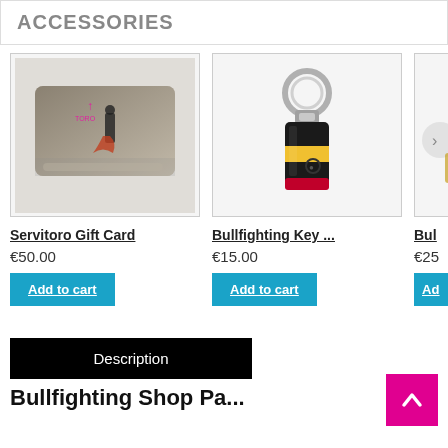ACCESSORIES
[Figure (photo): Servitoro gift card product image showing a credit-card sized item with a bullfighter on it]
Servitoro Gift Card
€50.00
Add to cart
[Figure (photo): Bullfighting key ring product image showing a USB-style keychain with Spanish flag colors]
Bullfighting Key ...
€15.00
Add to cart
[Figure (photo): Partial view of a third product, partially cut off at right edge]
Bul
€25
Ad
Description
Bullfighting Shop Pa...